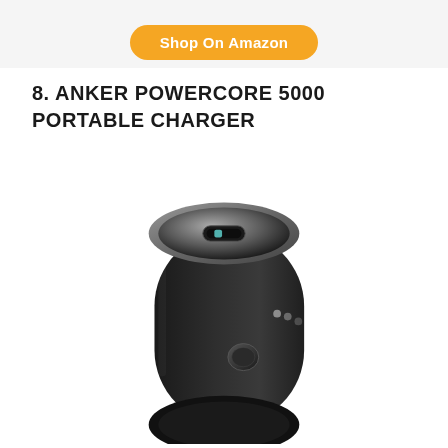Shop On Amazon
8. ANKER POWERCORE 5000 PORTABLE CHARGER
[Figure (photo): Anker PowerCore 5000 portable charger - a black cylindrical power bank shown at an angle, with a circular USB port on the top face, LED indicator dots on the side, and a power button.]